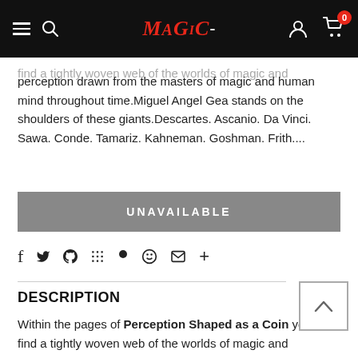MAGIC [store logo/navigation bar with hamburger, search, logo, user, cart with 0]
find a tightly woven web of the worlds of magic and perception drawn from the masters of magic and human mind throughout time.Miguel Angel Gea stands on the shoulders of these giants.Descartes. Ascanio. Da Vinci. Sawa. Conde. Tamariz. Kahneman. Goshman. Frith....
UNAVAILABLE
f  \u0079  \u2119  \u2026  \u2666  \u2764  \u2709  +
DESCRIPTION
Within the pages of Perception Shaped as a Coin you will find a tightly woven web of the worlds of magic and perception drawn